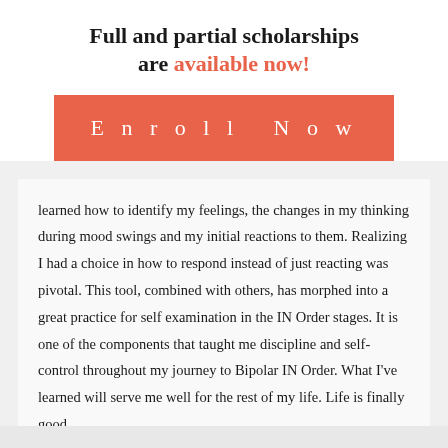Full and partial scholarships are available now!
Enroll Now
learned how to identify my feelings, the changes in my thinking during mood swings and my initial reactions to them. Realizing I had a choice in how to respond instead of just reacting was pivotal. This tool, combined with others, has morphed into a great practice for self examination in the IN Order stages. It is one of the components that taught me discipline and self-control throughout my journey to Bipolar IN Order. What I've learned will serve me well for the rest of my life. Life is finally good.